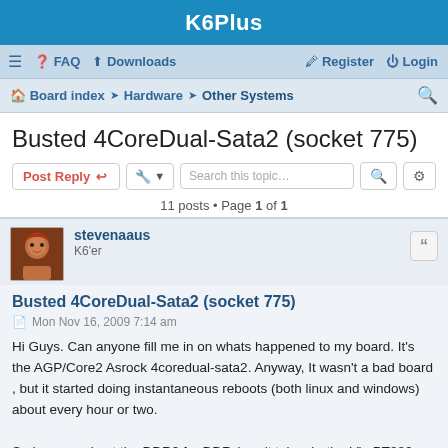K6Plus
≡  FAQ  Downloads  Register  Login
Board index · Hardware · Other Systems
Busted 4CoreDual-Sata2 (socket 775)
11 posts • Page 1 of 1
stevenaaus
K6'er
Busted 4CoreDual-Sata2 (socket 775)
Mon Nov 16, 2009 7:14 am
Hi Guys. Can anyone fill me in on whats happened to my board. It's the AGP/Core2 Asrock 4coredual-sata2. Anyway, It wasn't a bad board , but it started doing instantaneous reboots (both linux and windows) about every hour or two.

So I swapped out the DDR2 for DDR (yes it takes both - Via PT880 chipset),
and the first DDR slot fails to see anything! So all i can do is put a 1 gig